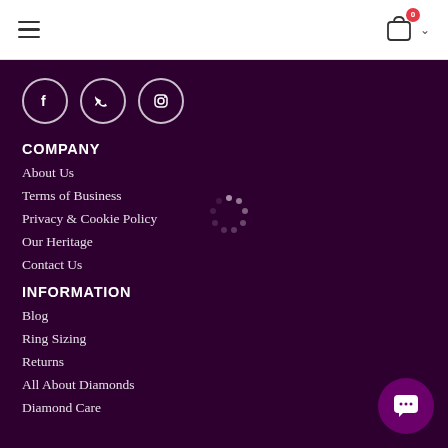[Figure (other): Hamburger menu icon (three horizontal lines) in the top-left header area]
[Figure (other): Shopping cart icon with red badge showing '0' and a chevron dropdown in the top-right header area]
[Figure (other): Three social media icon circles: Facebook (f), Twitter (bird), Instagram (camera) on dark purple background]
COMPANY
About Us
Terms of Business
Privacy & Cookie Policy
Our Heritage
Contact Us
[Figure (other): Loading spinner (circular dots) in center-right of page]
INFORMATION
Blog
Ring Sizing
Returns
All About Diamonds
Diamond Care
[Figure (other): Chat bubble button in bottom-right corner with speech bubble icon showing ellipsis dots]